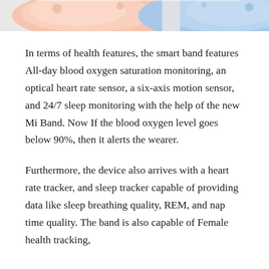[Figure (illustration): Partial view of smartband/wristband product illustration showing peach/pink and blue colored bands against a light background]
In terms of health features, the smart band features All-day blood oxygen saturation monitoring, an optical heart rate sensor, a six-axis motion sensor, and 24/7 sleep monitoring with the help of the new Mi Band. Now If the blood oxygen level goes below 90%, then it alerts the wearer.
Furthermore, the device also arrives with a heart rate tracker, and sleep tracker capable of providing data like sleep breathing quality, REM, and nap time quality. The band is also capable of Female health tracking,